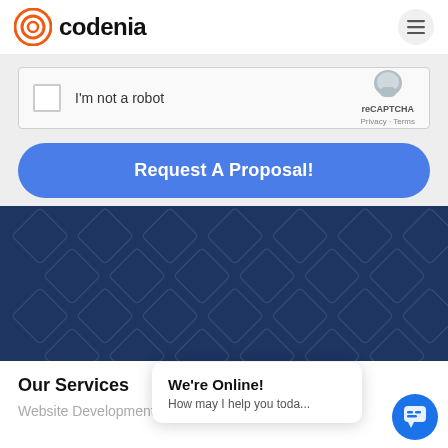codenia
[Figure (screenshot): reCAPTCHA widget with checkbox labeled I'm not a robot and reCAPTCHA Privacy - Terms logo]
[Figure (other): Blue rounded button labeled Request A Proposal!]
[Figure (other): Dark navy blue banner section with diamond/rhombus pattern decorations]
Our Services
Website Development
[Figure (other): Chat popup overlay showing We're Online! How may I help you toda... with a blue chat button icon]